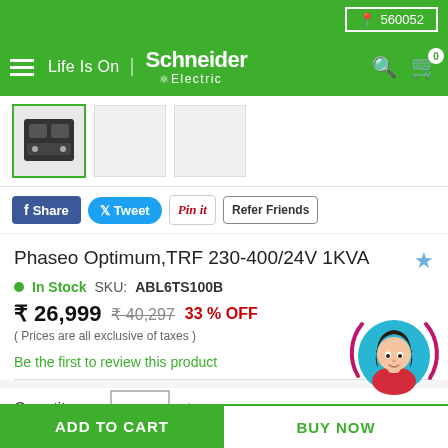560052
[Figure (logo): Schneider Electric Life Is On logo on green header bar]
[Figure (photo): Product thumbnail image of Phaseo Optimum TRF 230-400/24V 1KVA transformer]
Share   Tweet   Pin it   Refer Friends
Phaseo Optimum,TRF 230-400/24V 1KVA
In Stock   SKU: ABL6TS100B
₹ 26,999  ₹ 40,297  33 % OFF
( Prices are all exclusive of taxes )
Be the first to review this product
Quantity  1
[Figure (illustration): Chatbot avatar - animated woman with dark hair in red top, circular blue background with dark pink arc]
ADD TO CART   BUY NOW